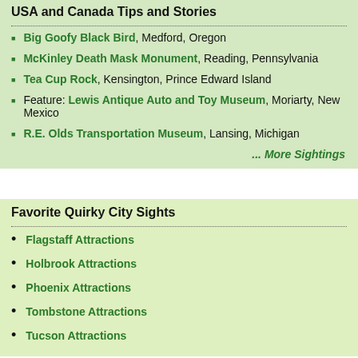USA and Canada Tips and Stories
Big Goofy Black Bird, Medford, Oregon
McKinley Death Mask Monument, Reading, Pennsylvania
Tea Cup Rock, Kensington, Prince Edward Island
Feature: Lewis Antique Auto and Toy Museum, Moriarty, New Mexico
R.E. Olds Transportation Museum, Lansing, Michigan
... More Sightings
Favorite Quirky City Sights
Flagstaff Attractions
Holbrook Attractions
Phoenix Attractions
Tombstone Attractions
Tucson Attractions